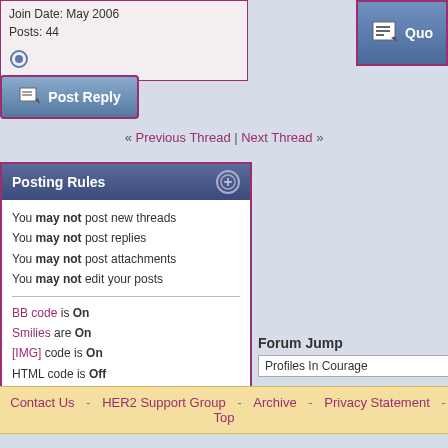Join Date: May 2006
Posts: 44
Post Reply
« Previous Thread | Next Thread »
Posting Rules
You may not post new threads
You may not post replies
You may not post attachments
You may not edit your posts
BB code is On
Smilies are On
[IMG] code is On
HTML code is Off
Forum Rules
Forum Jump
Profiles In Courage
All times are GMT -7. The time now is 02:14 PM.
Contact Us | HER2 Support Group | Archive | Privacy Statement | Top